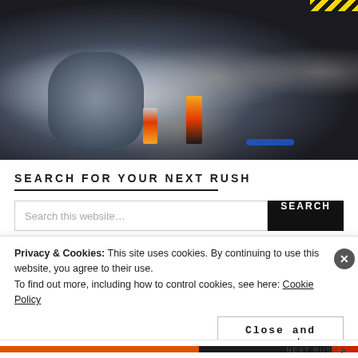[Figure (photo): People sitting in a cinema/movie theater, smiling and enjoying themselves. A man in a patterned shirt on the left, a woman in a leopard print top holding an ice cream cone and popcorn in the center, and other audience members visible in the background. Yellow hazard stripes visible in the top right corner.]
SEARCH FOR YOUR NEXT RUSH
Search this website…
SEARCH
Privacy & Cookies: This site uses cookies. By continuing to use this website, you agree to their use.
To find out more, including how to control cookies, see here: Cookie Policy
Close and accept